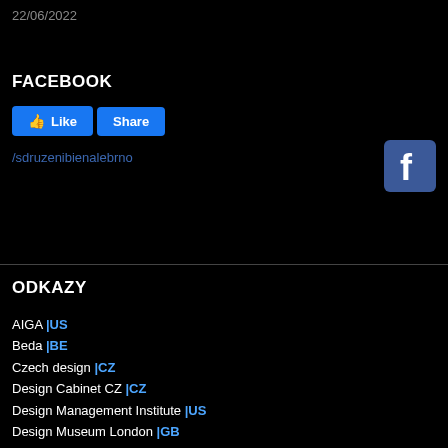22/06/2022
FACEBOOK
[Figure (screenshot): Facebook Like and Share buttons, and Facebook logo icon with link /sdruzenibienalebro]
/sdruzenibienalebrno
ODKAZY
AIGA |US
Beda |BE
Czech design |CZ
Design Cabinet CZ |CZ
Design Management Institute |US
Design Museum London |GB